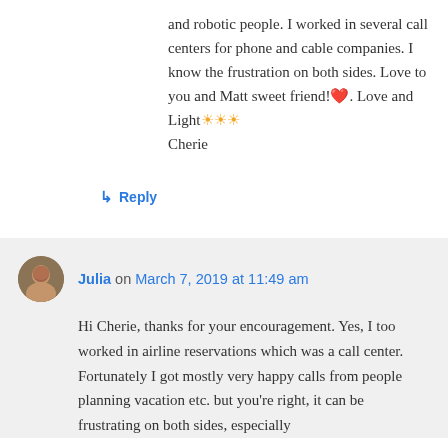and robotic people. I worked in several call centers for phone and cable companies. I know the frustration on both sides. Love to you and Matt sweet friend!❤️. Love and Light☀️☀️☀️ Cherie
↳ Reply
Julia on March 7, 2019 at 11:49 am
Hi Cherie, thanks for your encouragement. Yes, I too worked in airline reservations which was a call center. Fortunately I got mostly very happy calls from people planning vacation etc. but you're right, it can be frustrating on both sides, especially when the communication breaks down...